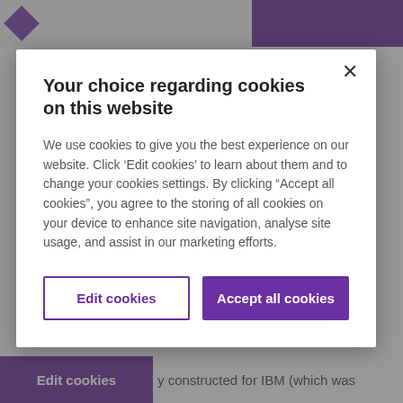[Figure (screenshot): Background webpage with purple header bar top-right and page content partially visible]
Your choice regarding cookies on this website
We use cookies to give you the best experience on our website. Click ‘Edit cookies’ to learn about them and to change your cookies settings. By clicking “Accept all cookies”, you agree to the storing of all cookies on your device to enhance site navigation, analyse site usage, and assist in our marketing efforts.
Edit cookies
Accept all cookies
Edit cookies    y constructed for IBM (which was